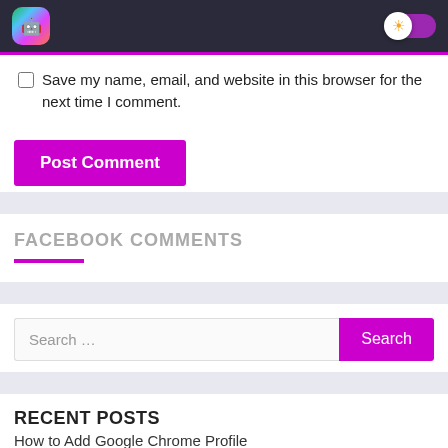App logo header with dark background and theme toggle
Save my name, email, and website in this browser for the next time I comment.
Post Comment
FACEBOOK COMMENTS
Search …
RECENT POSTS
How to Add Google Chrome Profile